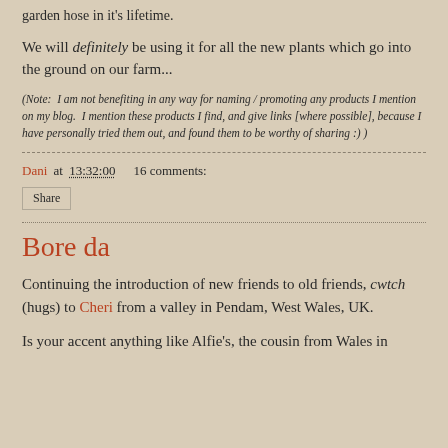garden hose in it's lifetime.
We will definitely be using it for all the new plants which go into the ground on our farm...
(Note: I am not benefiting in any way for naming / promoting any products I mention on my blog. I mention these products I find, and give links [where possible], because I have personally tried them out, and found them to be worthy of sharing :) )
Dani at 13:32:00    16 comments:
Share
Bore da
Continuing the introduction of new friends to old friends, cwtch (hugs) to Cheri from a valley in Pendam, West Wales, UK.
Is your accent anything like Alfie's, the cousin from Wales in